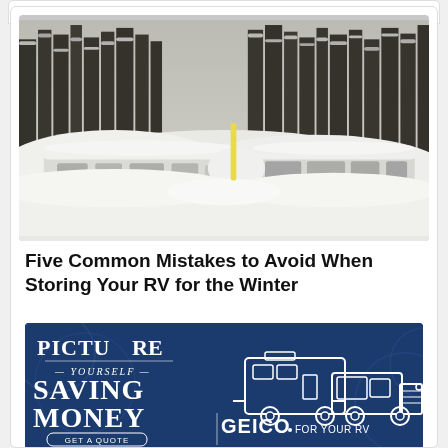[Figure (photo): Two vintage RV trailers buried in deep snow in a forested area during winter. Snow-covered pine trees visible in the background. Black and white/muted tone photo.]
Five Common Mistakes to Avoid When Storing Your RV for the Winter
[Figure (illustration): GEICO advertisement with dark blue background. Text reads 'PICTUРЕ YOURSELF SAVING MONEY' with a truck towing an RV illustration and 'GEICO FOR YOUR RV' logo and 'GET A QUOTE' button.]